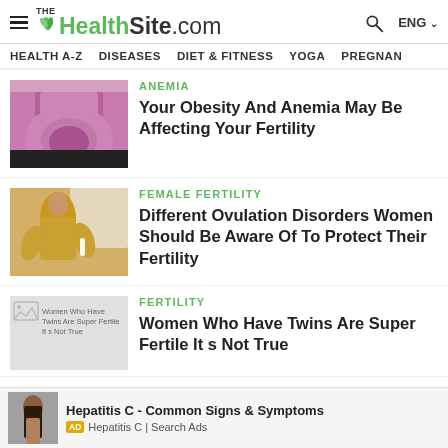THE HealthSite.com — ENG
HEALTH A-Z | DISEASES | DIET & FITNESS | YOGA | PREGNAN…
[Figure (photo): Person in pink/magenta shirt holding their belly]
ANEMIA
Your Obesity And Anemia May Be Affecting Your Fertility
[Figure (photo): Woman in yellow dress holding a pregnancy test]
FEMALE FERTILITY
Different Ovulation Disorders Women Should Be Aware Of To Protect Their Fertility
[Figure (photo): Broken image placeholder: Women Who Have Twins Are Super Fertile It s Not True]
FERTILITY
Women Who Have Twins Are Super Fertile It s Not True
[Figure (photo): Ad thumbnail of woman with hair down]
Hepatitis C - Common Signs & Symptoms
AD Hepatitis C | Search Ads